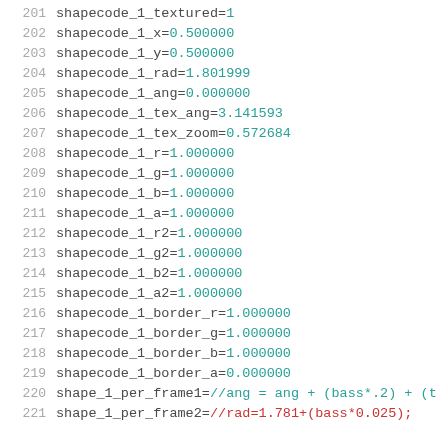201  shapecode_1_textured=1
202  shapecode_1_x=0.500000
203  shapecode_1_y=0.500000
204  shapecode_1_rad=1.801999
205  shapecode_1_ang=0.000000
206  shapecode_1_tex_ang=3.141593
207  shapecode_1_tex_zoom=0.572684
208  shapecode_1_r=1.000000
209  shapecode_1_g=1.000000
210  shapecode_1_b=1.000000
211  shapecode_1_a=1.000000
212  shapecode_1_r2=1.000000
213  shapecode_1_g2=1.000000
214  shapecode_1_b2=1.000000
215  shapecode_1_a2=1.000000
216  shapecode_1_border_r=1.000000
217  shapecode_1_border_g=1.000000
218  shapecode_1_border_b=1.000000
219  shapecode_1_border_a=0.000000
220  shape_1_per_frame1=//ang = ang + (bass*.2) + (t
221  shape_1_per_frame2=//rad=1.781+(bass*0.025);